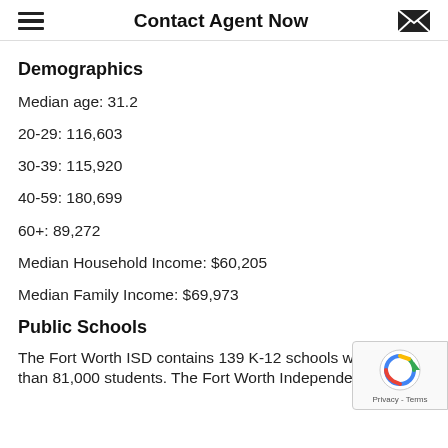Contact Agent Now
Demographics
Median age: 31.2
20-29: 116,603
30-39: 115,920
40-59: 180,699
60+: 89,272
Median Household Income: $60,205
Median Family Income: $69,973
Public Schools
The Fort Worth ISD contains 139 K-12 schools with more than 81,000 students. The Fort Worth Independent School